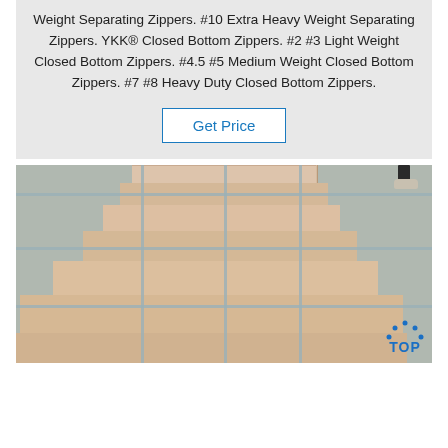Weight Separating Zippers. #10 Extra Heavy Weight Separating Zippers. YKK® Closed Bottom Zippers. #2 #3 Light Weight Closed Bottom Zippers. #4.5 #5 Medium Weight Closed Bottom Zippers. #7 #8 Heavy Duty Closed Bottom Zippers.
Get Price
[Figure (photo): Photo of wooden crate or planks laid out on a concrete floor, viewed from above at an angle. Planks are strapped together with grey straps. A person's foot/shoe is visible in the top right corner. A blue 'TOP' badge with dot arc appears in the bottom right corner of the image.]